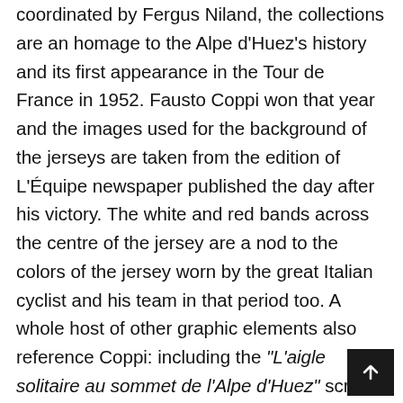coordinated by Fergus Niland, the collections are an homage to the Alpe d'Huez's history and its first appearance in the Tour de France in 1952. Fausto Coppi won that year and the images used for the background of the jerseys are taken from the edition of L'Équipe newspaper published the day after his victory. The white and red bands across the centre of the jersey are a nod to the colors of the jersey worn by the great Italian cyclist and his team in that period too. A whole host of other graphic elements also reference Coppi: including the "L'aigle solitaire au sommet de l'Alpe d'Huez" script, the 1952-2022 logo on the sleeve and the reference to the 70th anniversary of the victory and the Alpe d'Huez's inclusion on the Grande Boucle route